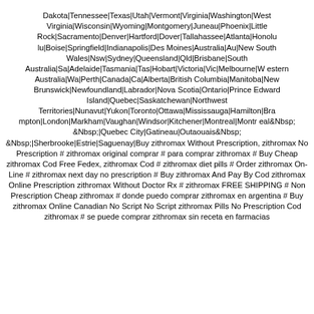Dakota|Tennessee|Texas|Utah|Vermont|Virginia|Washington|West Virginia|Wisconsin|Wyoming|Montgomery|Juneau|Phoenix|Little Rock|Sacramento|Denver|Hartford|Dover|Tallahassee|Atlanta|Honolulu|Boise|Springfield|Indianapolis|Des Moines|Australia|Au|New South Wales|Nsw|Sydney|Queensland|Qld|Brisbane|South Australia|Sa|Adelaide|Tasmania|Tas|Hobart|Victoria|Vic|Melbourne|Western Australia|Wa|Perth|Canada|Ca|Alberta|British Columbia|Manitoba|New Brunswick|Newfoundland|Labrador|Nova Scotia|Ontario|Prince Edward Island|Quebec|Saskatchewan|Northwest Territories|Nunavut|Yukon|Toronto|Ottawa|Mississauga|Hamilton|Brampton|London|Markham|Vaughan|Windsor|Kitchener|Montreal|Montreal&Nbsp; &Nbsp;|Quebec City|Gatineau|Outaouais&Nbsp; &Nbsp;|Sherbrooke|Estrie|Saguenay|Buy zithromax Without Prescription, zithromax No Prescription # zithromax original comprar # para comprar zithromax # Buy Cheap zithromax Cod Free Fedex, zithromax Cod # zithromax diet pills # Order zithromax On-Line # zithromax next day no prescription # Buy zithromax And Pay By Cod zithromax Online Prescription zithromax Without Doctor Rx # zithromax FREE SHIPPING # Non Prescription Cheap zithromax # donde puedo comprar zithromax en argentina # Buy zithromax Online Canadian No Script No Script zithromax Pills No Prescription Cod zithromax # se puede comprar zithromax sin receta en farmacias